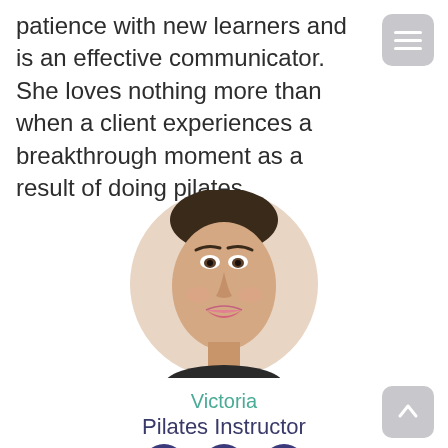patience with new learners and is an effective communicator. She loves nothing more than when a client experiences a breakthrough moment as a result of doing pilates.
[Figure (photo): Circular portrait photo of Victoria, a Pilates Instructor, smiling and facing forward against a white background.]
Victoria
Pilates Instructor
[Figure (other): Three circular icon buttons: email (envelope), Instagram, and Yelp.]